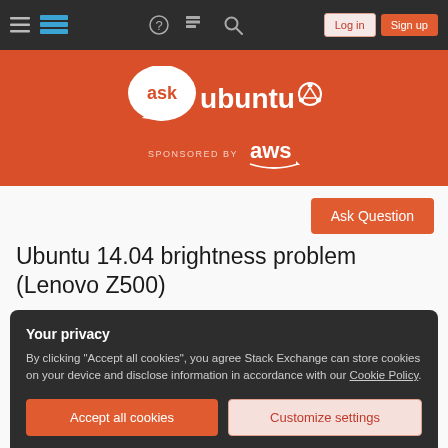Ask Ubuntu — navigation bar with hamburger menu, logo, help, chat, search, Log in, Sign up
[Figure (logo): Ask Ubuntu logo with 'ask ubuntu' text and Ubuntu circle logo, on orange background. Below: SPONSORED BY aws]
Ask Question
Ubuntu 14.04 brightness problem (Lenovo Z500)
Your privacy
By clicking "Accept all cookies", you agree Stack Exchange can store cookies on your device and disclose information in accordance with our Cookie Policy.
Accept all cookies   Customize settings
working with the FN keys or in the settings. and its